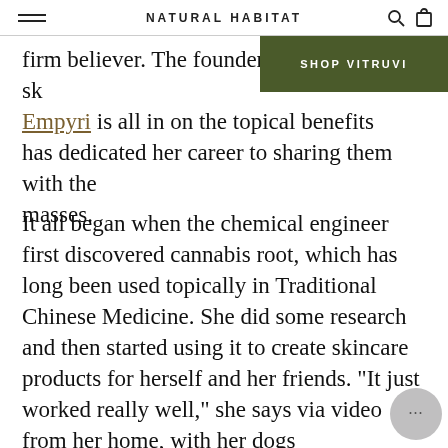NATURAL HABITAT
firm believer. The founder of natural sk… Empyri is all in on the topical benefits … has dedicated her career to sharing them with the masses.
It all began when the chemical engineer first discovered cannabis root, which has long been used topically in Traditional Chinese Medicine. She did some research and then started using it to create skincare products for herself and her friends. "It just worked really well," she says via video from her home, with her dogs intermittently barking in the background. A few experiments turned into a multi-step line that includes a cream, toner, cleanser, and serum. The Hydra… Toner + Vitamin C is an easy favorite; to preserve… potency of the Vitamin C, customers are given the acid